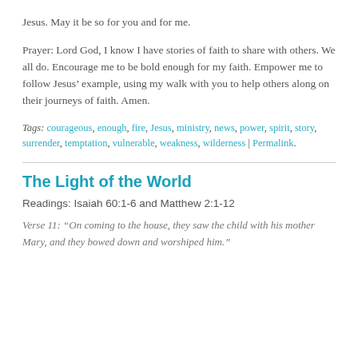Jesus. May it be so for you and for me.
Prayer: Lord God, I know I have stories of faith to share with others. We all do. Encourage me to be bold enough for my faith. Empower me to follow Jesus’ example, using my walk with you to help others along on their journeys of faith. Amen.
Tags: courageous, enough, fire, Jesus, ministry, news, power, spirit, story, surrender, temptation, vulnerable, weakness, wilderness | Permalink.
The Light of the World
Readings: Isaiah 60:1-6 and Matthew 2:1-12
Verse 11: “On coming to the house, they saw the child with his mother Mary, and they bowed down and worshiped him.”